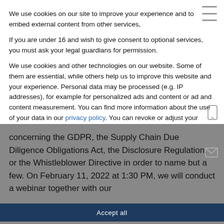We use cookies on our site to improve your experience and to embed external content from other services,
If you are under 16 and wish to give consent to optional services, you must ask your legal guardians for permission.
We use cookies and other technologies on our website. Some of them are essential, while others help us to improve this website and your experience. Personal data may be processed (e.g. IP addresses), for example for personalized ads and content or ad and content measurement. You can find more information about the use of your data in our privacy policy. You can revoke or adjust your selection at any time under Settings.
Necessary
External Services
concerning the GDPR, the Supply Chain Due Diligence Obligations Act, the Disclosure Regulation, or the Whistleblower Directive in order to name but a few. On February 11, 2022 at 1:30 PM, we will conduct a webinar together with our